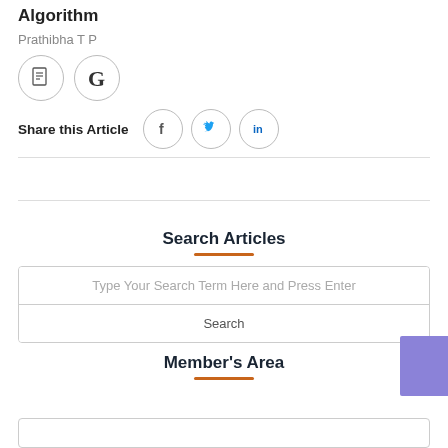Algorithm
Prathibha T P
[Figure (other): Two circular icon buttons: a document icon and a Google G icon]
Share this Article
[Figure (other): Three social share icon buttons: Facebook (f), Twitter (bird), LinkedIn (in)]
Search Articles
Type Your Search Term Here and Press Enter
Search
Member's Area